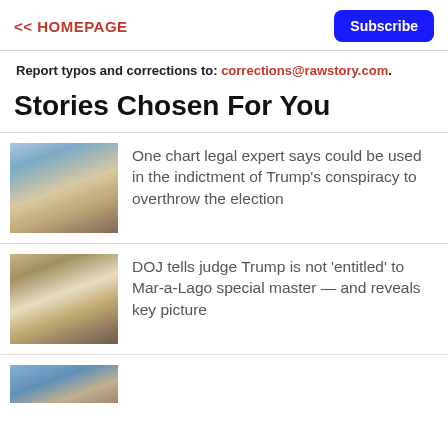<< HOMEPAGE | Subscribe
Report typos and corrections to: corrections@rawstory.com.
Stories Chosen For You
[Figure (photo): Headshot of a man with grey-blond hair against a blue background]
One chart legal expert says could be used in the indictment of Trump's conspiracy to overthrow the election
[Figure (photo): Photo of Trump signing a document at a desk]
DOJ tells judge Trump is not 'entitled' to Mar-a-Lago special master — and reveals key picture
[Figure (photo): Partial photo of a person, cropped at bottom of page]